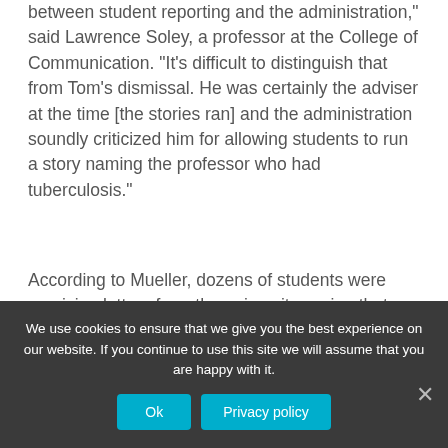between student reporting and the administration," said Lawrence Soley, a professor at the College of Communication. "It's difficult to distinguish that from Tom's dismissal. He was certainly the adviser at the time [the stories ran] and the administration soundly criticized him for allowing students to run a story naming the professor who had tuberculosis."
According to Mueller, dozens of students were receiving letters from the university saying that they had been exposed to tuberculosis and should go in for skin tests. Marquette University did not release the name of the teacher with the disease, and staff at the Tribune
We use cookies to ensure that we give you the best experience on our website. If you continue to use this site we will assume that you are happy with it.